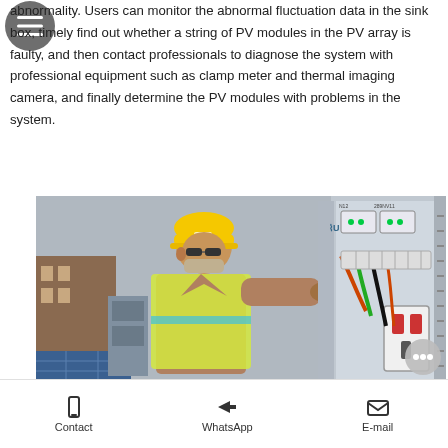abnormality. Users can monitor the abnormal fluctuation data in the sink box, timely find out whether a string of PV modules in the PV array is faulty, and then contact professionals to diagnose the system with professional equipment such as clamp meter and thermal imaging camera, and finally determine the PV modules with problems in the system.
[Figure (photo): A technician wearing a yellow hard hat and high-visibility vest uses a smartphone to photograph the interior of an electrical control box/junction box at a PV solar installation site. The open cabinet shows wiring, circuit breakers, and monitoring equipment. Solar panels and equipment are visible in the background.]
Contact   WhatsApp   E-mail